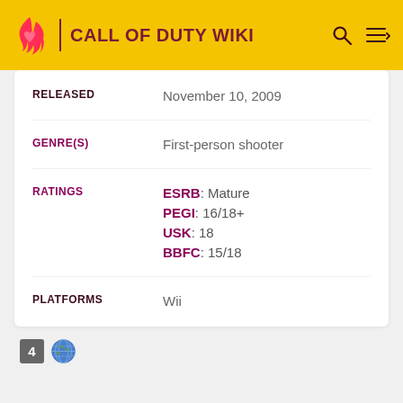CALL OF DUTY WIKI
| Field | Value |
| --- | --- |
| RELEASED | November 10, 2009 |
| GENRE(S) | First-person shooter |
| RATINGS | ESRB: Mature
PEGI: 16/18+
USK: 18
BBFC: 15/18 |
| PLATFORMS | Wii |
[Figure (infographic): Small badge with number 4 and a globe icon]
For other uses, see Reflex.